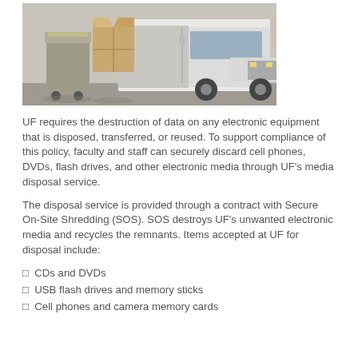[Figure (photo): A large white truck with two large trash/recycling bins in front of it, parked in what appears to be a facility or loading area.]
UF requires the destruction of data on any electronic equipment that is disposed, transferred, or reused. To support compliance of this policy, faculty and staff can securely discard cell phones, DVDs, flash drives, and other electronic media through UF’s media disposal service.
The disposal service is provided through a contract with Secure On-Site Shredding (SOS). SOS destroys UF’s unwanted electronic media and recycles the remnants. Items accepted at UF for disposal include:
CDs and DVDs
USB flash drives and memory sticks
Cell phones and camera memory cards